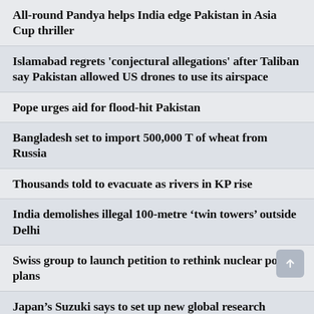All-round Pandya helps India edge Pakistan in Asia Cup thriller
Islamabad regrets 'conjectural allegations' after Taliban say Pakistan allowed US drones to use its airspace
Pope urges aid for flood-hit Pakistan
Bangladesh set to import 500,000 T of wheat from Russia
Thousands told to evacuate as rivers in KP rise
India demolishes illegal 100-metre ‘twin towers’ outside Delhi
Swiss group to launch petition to rethink nuclear power plans
Japan’s Suzuki says to set up new global research company in India